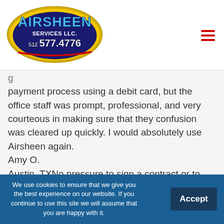[Figure (logo): Airsheen Services LLC logo with phone number 512 577.4776, oval yellow/gold shape with blue and red text]
payment process using a debit card, but the office staff was prompt, professional, and very courteous in making sure that they confusion was cleared up quickly. I would absolutely use Airsheen again.
Amy O.
Austin, TXNo pressure to sign a contract or to replace anything that did not need replacement. The technician was very knowledgeable of his craft and was very polite. We provided a list of items to remediate and he completed the work to our full satisfaction. I will recommend this company
We use cookies to ensure that we give you the best experience on our website. If you continue to use this site we will assume that you are happy with it.